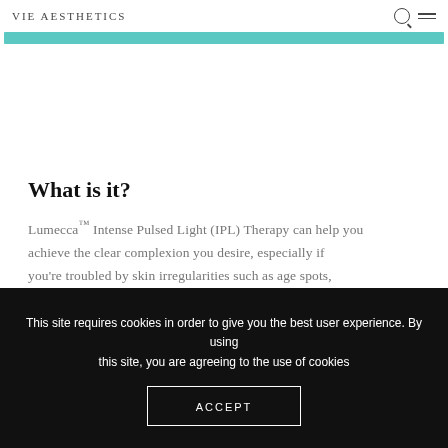VIE AESTHETICS
[Figure (other): Teal/turquoise horizontal progress or navigation bar]
What is it?
Lumecca™ Intense Pulsed Light (IPL) Therapy can help you achieve the clear complexion you desire, especially if you're troubled by skin irregularities such as age spots,
This site requires cookies in order to give you the best user experience. By using this site, you are agreeing to the use of cookies
ACCEPT